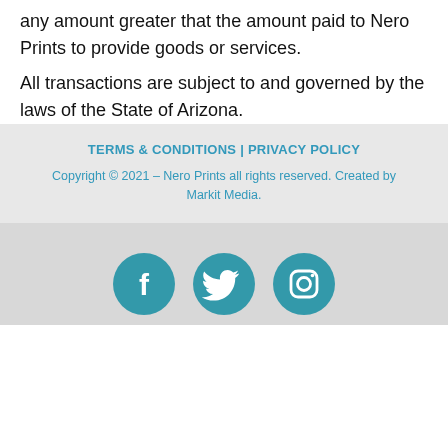any amount greater that the amount paid to Nero Prints to provide goods or services.
All transactions are subject to and governed by the laws of the State of Arizona.
TERMS & CONDITIONS | PRIVACY POLICY
Copyright © 2021 – Nero Prints all rights reserved. Created by Markit Media.
[Figure (illustration): Social media icons: Facebook, Twitter, Instagram — circular teal buttons]